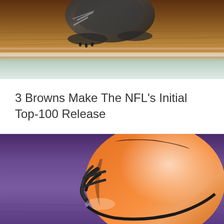[Figure (photo): Top portion of a sports photo showing football cleats/shoes on a grass field with yard line markings visible]
3 Browns Make The NFL’s Initial Top-100 Release
[Figure (photo): Cleveland Browns orange football helmet resting on a purple surface/field, with reflection below and a small US flag icon visible]